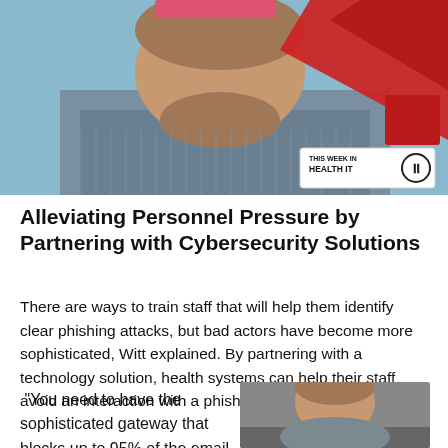[Figure (photo): Hero image showing a bald, bearded man in a striped shirt looking down, with a red graphic element in the upper right and a 'This Week in Health IT' podcast badge in the lower right corner.]
Alleviating Personnel Pressure by Partnering with Cybersecurity Solutions
There are ways to train staff that will help them identify clear phishing attacks, but bad actors have become more sophisticated, Witt explained. By partnering with a technology solution, health systems can help their staff avoid an interaction with a phishing email.
"You need to have the sophisticated gateway that blocks up to 95% of the email that comes your way. You're keeping
[Figure (photo): Portrait photo of a bald man looking directly at the camera, against a neutral grey background.]